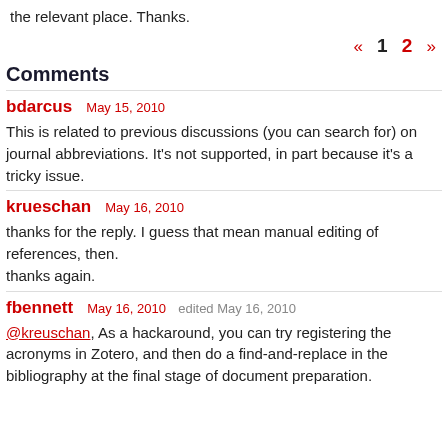the relevant place. Thanks.
« 1 2 »
Comments
bdarcus   May 15, 2010
This is related to previous discussions (you can search for) on journal abbreviations. It's not supported, in part because it's a tricky issue.
krueschan   May 16, 2010
thanks for the reply. I guess that mean manual editing of references, then.
thanks again.
fbennett   May 16, 2010   edited May 16, 2010
@kreuschan, As a hackaround, you can try registering the acronyms in Zotero, and then do a find-and-replace in the bibliography at the final stage of document preparation.